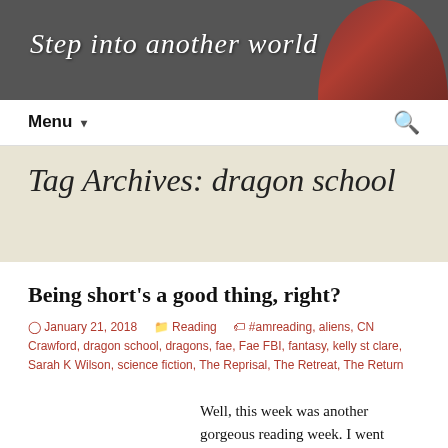Step into another world
Menu ▾
Tag Archives: dragon school
Being short's a good thing, right?
January 21, 2018   Reading   #amreading, aliens, CN Crawford, dragon school, dragons, fae, Fae FBI, fantasy, kelly st clare, Sarah K Wilson, science fiction, The Reprisal, The Retreat, The Return
Well, this week was another gorgeous reading week. I went straight from